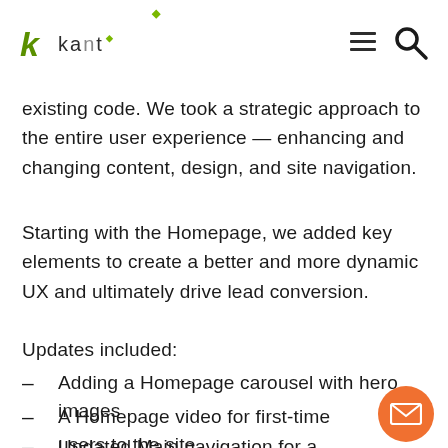kamt [logo with hamburger menu and search icon]
existing code. We took a strategic approach to the entire user experience — enhancing and changing content, design, and site navigation.
Starting with the Homepage, we added key elements to create a better and more dynamic UX and ultimately drive lead conversion.
Updates included:
Adding a Homepage carousel with hero images
A Homepage video for first-time users to the site
Updated Main navigation for a better user journey